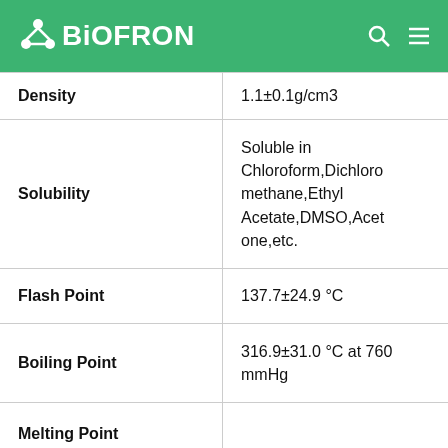BIOFRON
| Property | Value |
| --- | --- |
| Density | 1.1±0.1g/cm3 |
| Solubility | Soluble in Chloroform,Dichloromethane,Ethyl Acetate,DMSO,Acetone,etc. |
| Flash Point | 137.7±24.9 °C |
| Boiling Point | 316.9±31.0 °C at 760 mmHg |
| Melting Point |  |
| InChI | InChI=1S/C12H16O3/c1-3-4-5-6-9-7- |